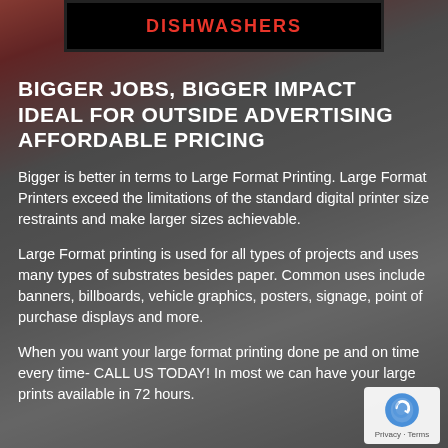[Figure (photo): Blurred background of a large format printing machine with dark grey and red tones. A TV/monitor showing 'DISHWASHERS' text is visible at the top center.]
BIGGER JOBS, BIGGER IMPACT
IDEAL FOR OUTSIDE ADVERTISING
AFFORDABLE PRICING
Bigger is better in terms to Large Format Printing. Large Format Printers exceed the limitations of the standard digital printer size restraints and make larger sizes achievable.
Large Format printing is used for all types of projects and uses many types of substrates besides paper. Common uses include banners, billboards, vehicle graphics, posters, signage, point of purchase displays and more.
When you want your large format printing done pe and on time every time- CALL US TODAY! In most we can have your large prints available in 72 hours.